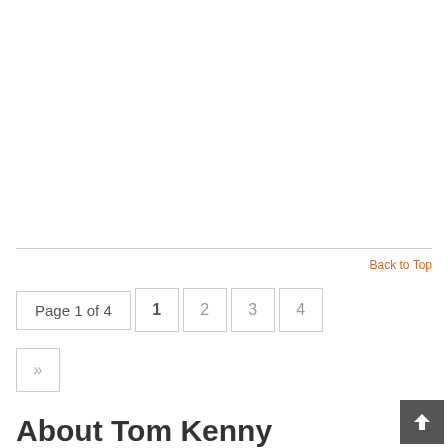Back to Top
Page 1 of 4  1  2  3  4  »
About Tom Kenny